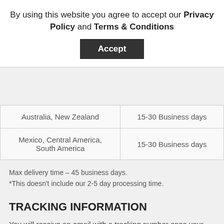By using this website you agree to accept our Privacy Policy and Terms & Conditions
Accept
| Australia, New Zealand | 15-30 Business days |
| Mexico, Central America, South America | 15-30 Business days |
Max delivery time – 45 business days.
*This doesn't include our 2-5 day processing time.
TRACKING INFORMATION
You will receive an email with a tracking number once your order is shipped but sometimes due to free shipping tracking is not available. For logistical reasons, items in the same purchase may be sent in separate packages even if you've specified combined shipping.